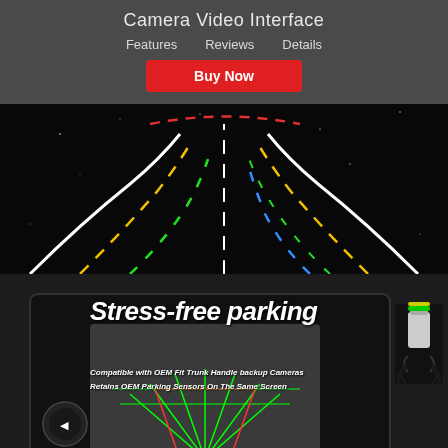Camera Video Interface
Features
Reviews
Details
Buy Now
[Figure (photo): Overhead road view with colorful lane guide lines on dark background]
[Figure (photo): Car dashboard screen showing backup camera with parking guidelines overlaid. Text: Stress-free parking. Compatible with OEM Fit Trunk Handle backup Cameras. Retains OEM Parking Sensors On The Same Screen.]